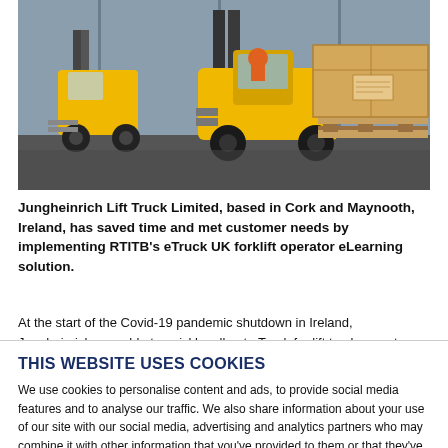[Figure (photo): Yellow Jungheinrich forklift trucks in a warehouse, one carrying a large cardboard box on a pallet, operator visible in cab]
Jungheinrich Lift Truck Limited, based in Cork and Maynooth, Ireland, has saved time and met customer needs by implementing RTITB's eTruck UK forklift operator eLearning solution.
At the start of the Covid-19 pandemic shutdown in Ireland, Jungheinrich was able to quickly roll out eTruck for lift truck operator
THIS WEBSITE USES COOKIES
We use cookies to personalise content and ads, to provide social media features and to analyse our traffic. We also share information about your use of our site with our social media, advertising and analytics partners who may combine it with other information that you've provided to them or that they've collected from your use of their services.
Use necessary cookies only
Allow all cookies
Show details